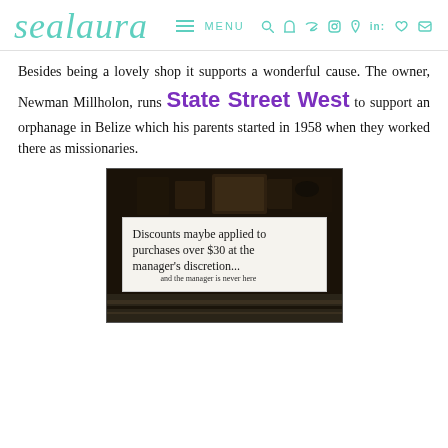sealaura — MENU (navigation icons)
Besides being a lovely shop it supports a wonderful cause. The owner, Newman Millholon, runs State Street West to support an orphanage in Belize which his parents started in 1958 when they worked there as missionaries.
[Figure (photo): A handwritten sign on white paper reading: 'Discounts maybe applied to purchases over $30 at the manager's discretion... and the manager is never here.' Sign is placed on a dark surface in a shop setting.]